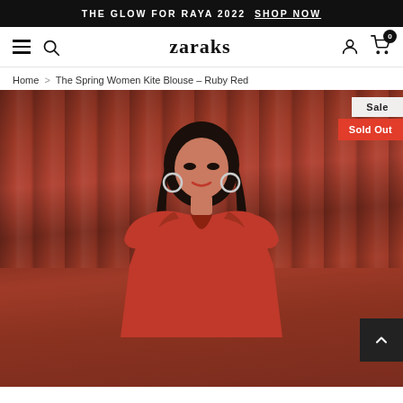THE GLOW FOR RAYA 2022 SHOP NOW
zaraks — navigation with hamburger menu, search, account, cart (0)
Home > The Spring Women Kite Blouse – Ruby Red
[Figure (photo): A woman wearing a ruby red blouse posed in front of a deep red velvet curtain backdrop. Two badge overlays appear: 'Sale' (light background) and 'Sold Out' (red background), both on the right side. A dark scroll-up arrow button appears at bottom right.]